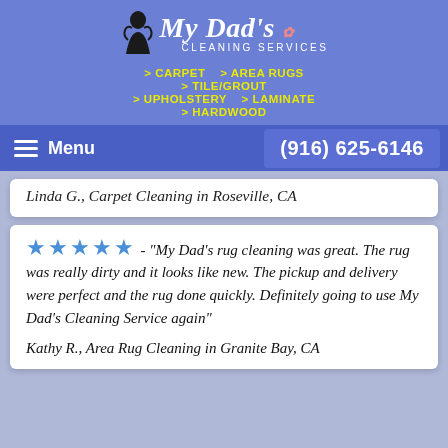[Figure (logo): My Dad's Cleaning Services logo with stylized figure icon and italic script text]
> CARPET   > AREA RUGS
> TILE/GROUT
> UPHOLSTERY   > LAMINATE
> HARDWOOD
Menu   (916) 625-6146
Linda G., Carpet Cleaning in Roseville, CA
★★★★★ - "My Dad's rug cleaning was great. The rug was really dirty and it looks like new. The pickup and delivery were perfect and the rug done quickly. Definitely going to use My Dad's Cleaning Service again"
Kathy R., Area Rug Cleaning in Granite Bay, CA